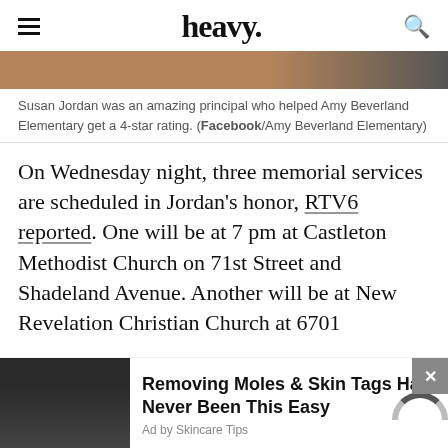heavy.
[Figure (photo): Partial photo strip, cropped image at top of page]
Susan Jordan was an amazing principal who helped Amy Beverland Elementary get a 4-star rating. (Facebook/Amy Beverland Elementary)
On Wednesday night, three memorial services are scheduled in Jordan's honor, RTV6 reported. One will be at 7 pm at Castleton Methodist Church on 71st Street and Shadeland Avenue. Another will be at New Revelation Christian Church at 6701
[Figure (photo): Advertisement photo: man touching face]
Removing Moles & Skin Tags Has Never Been This Easy
Ad by Skincare Tips